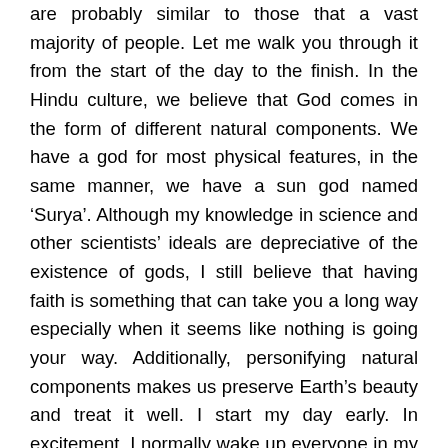are probably similar to those that a vast majority of people. Let me walk you through it from the start of the day to the finish. In the Hindu culture, we believe that God comes in the form of different natural components. We have a god for most physical features, in the same manner, we have a sun god named ‘Surya’. Although my knowledge in science and other scientists’ ideals are depreciative of the existence of gods, I still believe that having faith is something that can take you a long way especially when it seems like nothing is going your way. Additionally, personifying natural components makes us preserve Earth’s beauty and treat it well. I start my day early. In excitement, I normally wake up everyone in my house and sometimes even my neighbors, this understandably makes them quite grumpy, but to me, it’s worth it if it means I get an early start to this festival. After I wake up, I have an oil bath. Apart from religious